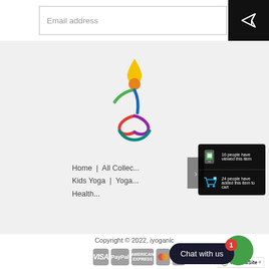Email address
[Figure (screenshot): Yoga/wellness website footer screenshot showing logo, navigation breadcrumb, social proof popup with view and cart counts, copyright, payment icons, chat button, and TrustedSite badge]
16 people have viewed this item
24 people have added this item to cart
Home | All Collec... | Kids Yoga | Yoga... | Health...
Copyright © 2022, iyoganic
[Figure (logo): iyoganic yoga figure logo in rainbow colors]
Chat with us